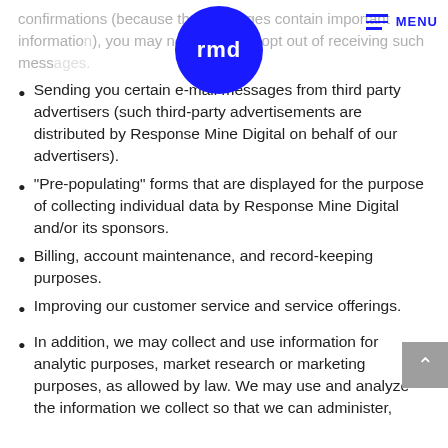confirmations (because the messages contain important information), you may not be able to opt out of receiving such messages.
Sending you certain e-mail messages from third party advertisers (such third-party advertisements are distributed by Response Mine Digital on behalf of our advertisers).
“Pre-populating” forms that are displayed for the purpose of collecting individual data by Response Mine Digital and/or its sponsors.
Billing, account maintenance, and record-keeping purposes.
Improving our customer service and service offerings.
In addition, we may collect and use information for analytic purposes, market research or marketing purposes, as allowed by law. We may use and analyze the information we collect so that we can administer,